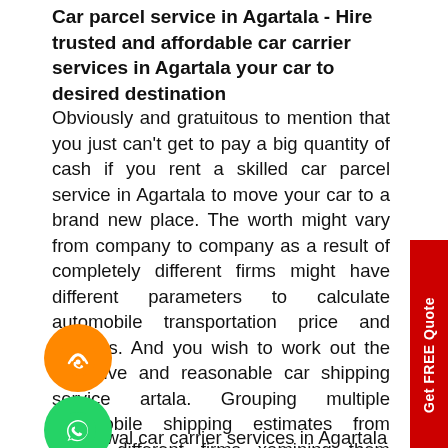Car parcel service in Agartala - Hire trusted and affordable car carrier services in Agartala your car to desired destination
Obviously and gratuitous to mention that you just can't get to pay a big quantity of cash if you rent a skilled car parcel service in Agartala to move your car to a brand new place. The worth might vary from company to company as a result of completely different firms might have different parameters to calculate automobile transportation price and charges. And you wish to work out the most ive and reasonable car shipping service artala. Grouping multiple automobile shipping estimates from totally different firms xamining them might assist you derably in minimizing the car shipping price in Agartala.
At Grewal car carrier services in Agartala